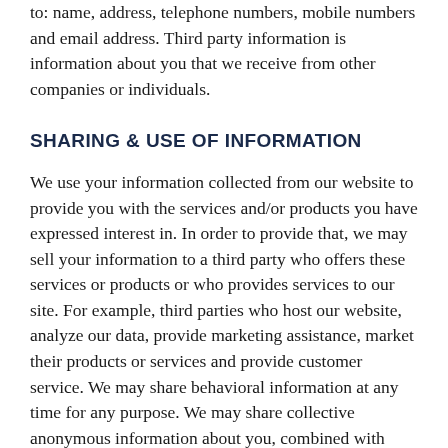to: name, address, telephone numbers, mobile numbers and email address. Third party information is information about you that we receive from other companies or individuals.
SHARING & USE OF INFORMATION
We use your information collected from our website to provide you with the services and/or products you have expressed interest in. In order to provide that, we may sell your information to a third party who offers these services or products or who provides services to our site. For example, third parties who host our website, analyze our data, provide marketing assistance, market their products or services and provide customer service. We may share behavioral information at any time for any purpose. We may share collective anonymous information about you, combined with other persons using our website with third parties, so that they can understand the various users that